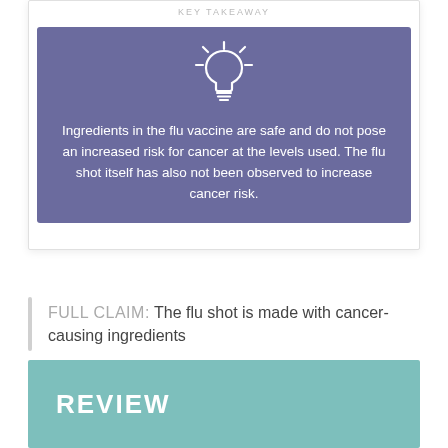KEY TAKEAWAY
[Figure (infographic): Purple box with white lightbulb icon and text: Ingredients in the flu vaccine are safe and do not pose an increased risk for cancer at the levels used. The flu shot itself has also not been observed to increase cancer risk.]
FULL CLAIM: The flu shot is made with cancer-causing ingredients
REVIEW